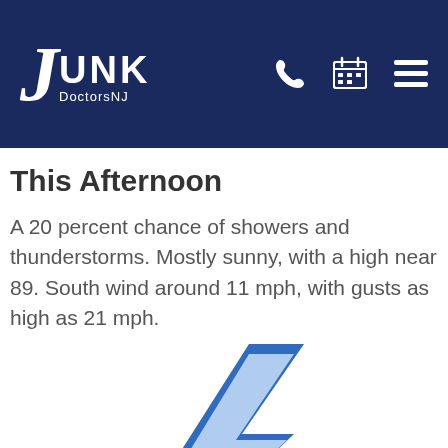JUNK DoctorsNJ
This Afternoon
A 20 percent chance of showers and thunderstorms. Mostly sunny, with a high near 89. South wind around 11 mph, with gusts as high as 21 mph.
[Figure (illustration): A blue lightning bolt icon, with a darker blue outline and a light blue fill, shown on a white background.]